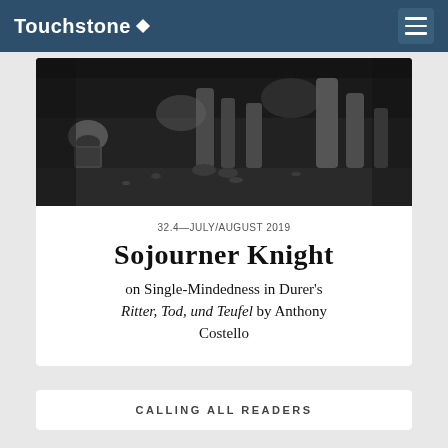Touchstone
[Figure (photo): Black and white engraving detail showing skeletal and armored figures, a skull, and various objects on the ground — portion of Dürer's Ritter, Tod, und Teufel]
32.4—JULY/AUGUST 2019
Sojourner Knight
on Single-Mindedness in Durer's Ritter, Tod, und Teufel by Anthony Costello
CALLING ALL READERS